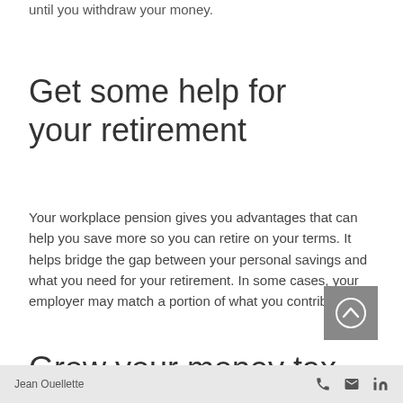until you withdraw your money.
Get some help for your retirement
Your workplace pension gives you advantages that can help you save more so you can retire on your terms. It helps bridge the gap between your personal savings and what you need for your retirement. In some cases, your employer may match a portion of what you contribute.
[Figure (other): Circular scroll-up button with upward chevron arrow on grey square background]
Grow your money tax-free
Jean Ouellette  [phone icon] [email icon] [linkedin icon]